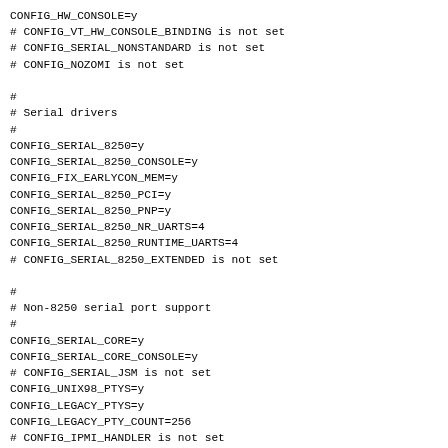CONFIG_HW_CONSOLE=y
# CONFIG_VT_HW_CONSOLE_BINDING is not set
# CONFIG_SERIAL_NONSTANDARD is not set
# CONFIG_NOZOMI is not set

#
# Serial drivers
#
CONFIG_SERIAL_8250=y
CONFIG_SERIAL_8250_CONSOLE=y
CONFIG_FIX_EARLYCON_MEM=y
CONFIG_SERIAL_8250_PCI=y
CONFIG_SERIAL_8250_PNP=y
CONFIG_SERIAL_8250_NR_UARTS=4
CONFIG_SERIAL_8250_RUNTIME_UARTS=4
# CONFIG_SERIAL_8250_EXTENDED is not set

#
# Non-8250 serial port support
#
CONFIG_SERIAL_CORE=y
CONFIG_SERIAL_CORE_CONSOLE=y
# CONFIG_SERIAL_JSM is not set
CONFIG_UNIX98_PTYS=y
CONFIG_LEGACY_PTYS=y
CONFIG_LEGACY_PTY_COUNT=256
# CONFIG_IPMI_HANDLER is not set
CONFIG_HW_RANDOM=y
CONFIG_HW_RANDOM_INTEL=y
CONFIG_HW_RANDOM_AMD=y
# CONFIG_NVRAM is not set